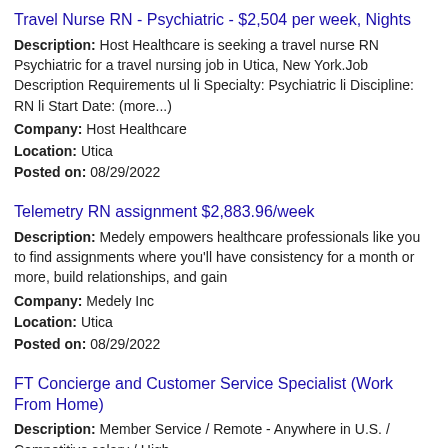Travel Nurse RN - Psychiatric - $2,504 per week, Nights
Description: Host Healthcare is seeking a travel nurse RN Psychiatric for a travel nursing job in Utica, New York.Job Description Requirements ul li Specialty: Psychiatric li Discipline: RN li Start Date: (more...)
Company: Host Healthcare
Location: Utica
Posted on: 08/29/2022
Telemetry RN assignment $2,883.96/week
Description: Medely empowers healthcare professionals like you to find assignments where you'll have consistency for a month or more, build relationships, and gain
Company: Medely Inc
Location: Utica
Posted on: 08/29/2022
FT Concierge and Customer Service Specialist (Work From Home)
Description: Member Service / Remote - Anywhere in U.S. / Competitive salary / High
Company: Velocity Black